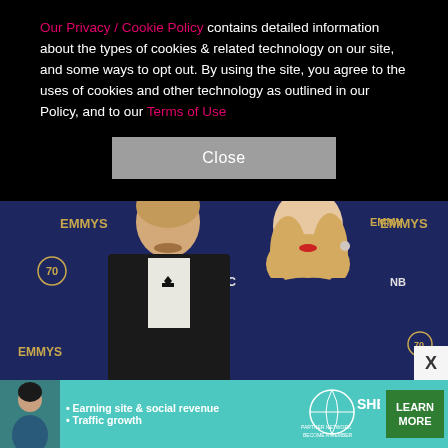Our Privacy / Cookie Policy contains detailed information about the types of cookies & related technology on our site, and some ways to opt out. By using the site, you agree to the uses of cookies and other technology as outlined in our Policy, and to our Terms of Use
Close
[Figure (photo): A man in a black tuxedo with bow tie (Jesse Plemons) and a blonde woman in a navy blue dress (Kirsten Dunst) posing at the 70th Emmy Awards red carpet, with NBC and EMMYS branded backdrop visible behind them.]
[Figure (photo): Advertisement banner for SHE Media Partner Network. Shows a woman's photo on the left, bullet points reading 'Earning site & social revenue' and 'Traffic growth', SHE Partner Network logo in center, and a green 'LEARN MORE' button on the right.]